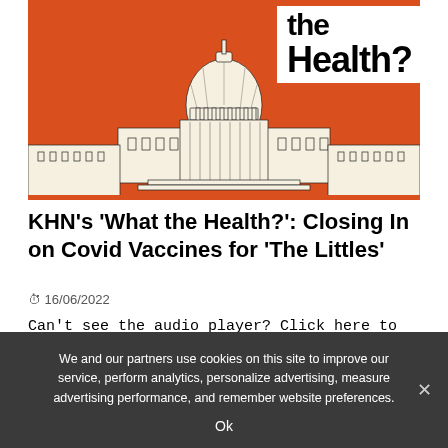[Figure (illustration): Orange background illustration of the US Capitol building with 'What the Health?' text overlay in white box top right]
KHN's 'What the Health?': Closing In on Covid Vaccines for 'The Littles'
16/06/2022
Can't see the audio player? Click here to listen on Acast. You can also listen on Spotify, Apple Podcasts, Stitcher, Pocket Casts, or wherever you [...]
We and our partners use cookies on this site to improve our service, perform analytics, personalize advertising, measure advertising performance, and remember website preferences.
Ok